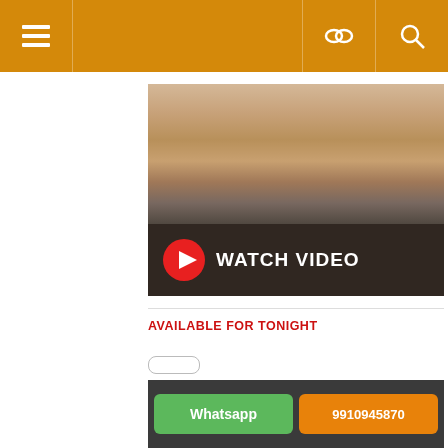Navigation header with menu, link, and search icons
[Figure (photo): Video thumbnail showing a person with a play button overlay and 'WATCH VIDEO' text]
AVAILABLE FOR TONIGHT
[Figure (screenshot): Dark panel with Whatsapp button and phone number 9910945870]